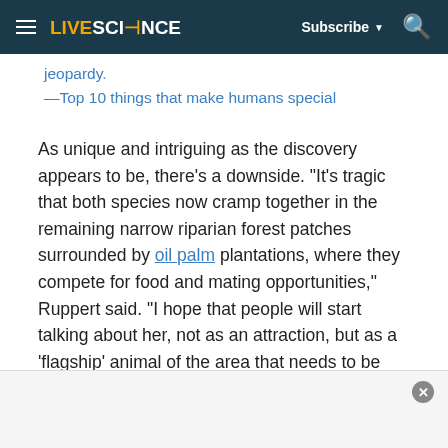LIVESCIENCE — Subscribe ▼ 🔍
jeopardy.
—Top 10 things that make humans special
As unique and intriguing as the discovery appears to be, there's a downside. "It's tragic that both species now cramp together in the remaining narrow riparian forest patches surrounded by oil palm plantations, where they compete for food and mating opportunities," Ruppert said. "I hope that people will start talking about her, not as an attraction, but as a 'flagship' animal of the area that needs to be protected, and with her, her two parent species and their habitat."